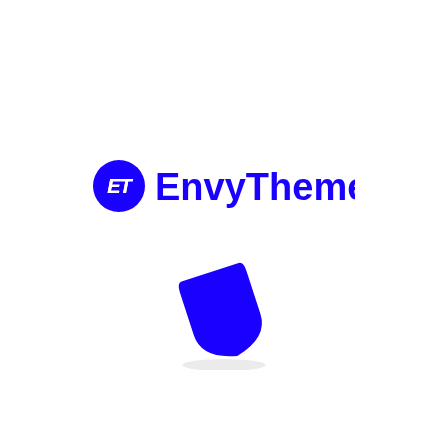[Figure (logo): EnvyTheme logo: blue circle with white italic ET text, followed by blue bold text 'EnvyTheme']
[Figure (illustration): Blue shield/paint bucket shape tilted at an angle with a subtle shadow beneath it]